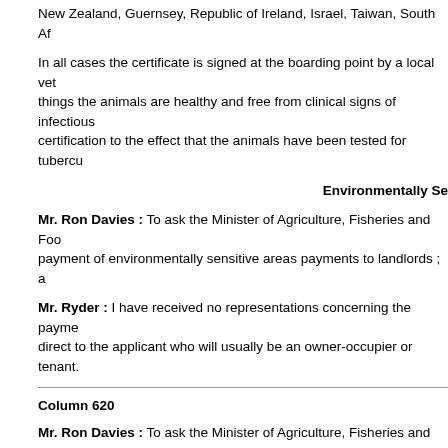New Zealand, Guernsey, Republic of Ireland, Israel, Taiwan, South Af...
In all cases the certificate is signed at the boarding point by a local vet... things the animals are healthy and free from clinical signs of infectious... certification to the effect that the animals have been tested for tubercu...
Environmentally Se...
Mr. Ron Davies : To ask the Minister of Agriculture, Fisheries and Foo... payment of environmentally sensitive areas payments to landlords ; a...
Mr. Ryder : I have received no representations concerning the payme... direct to the applicant who will usually be an owner-occupier or tenant.
Column 620
Mr. Ron Davies : To ask the Minister of Agriculture, Fisheries and Foo... environmentally sensitive area agreements who are (a)
owner-occupiers, (b) tenants of private landlords and (c) tenants of pu... number of tenants of each public body in England, Scotland, Wales ar...
Mr. Ryder : The information could be obtained only at disproportionate...
Forestry Commission (H...
Mr. Ron Davies : To ask the Minister of Agriculture, Fisheries and Foo... 24 February, Official Report, column 853 , if he will now place in the Li... hunt used in the Forestry Commission's east England conservancy.